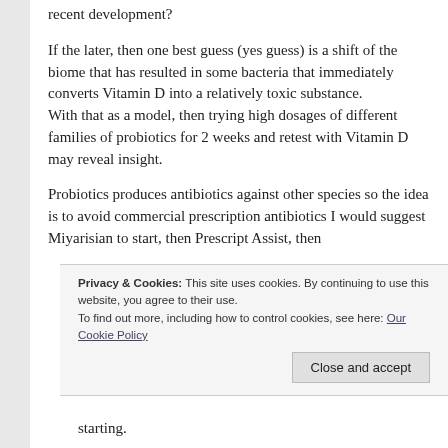recent development?
If the later, then one best guess (yes guess) is a shift of the biome that has resulted in some bacteria that immediately converts Vitamin D into a relatively toxic substance.
With that as a model, then trying high dosages of different families of probiotics for 2 weeks and retest with Vitamin D may reveal insight.
Probiotics produces antibiotics against other species so the idea is to avoid commercial prescription antibiotics I would suggest Miyarisian to start, then Prescript Assist, then
Privacy & Cookies: This site uses cookies. By continuing to use this website, you agree to their use.
To find out more, including how to control cookies, see here: Our Cookie Policy
Close and accept
starting.